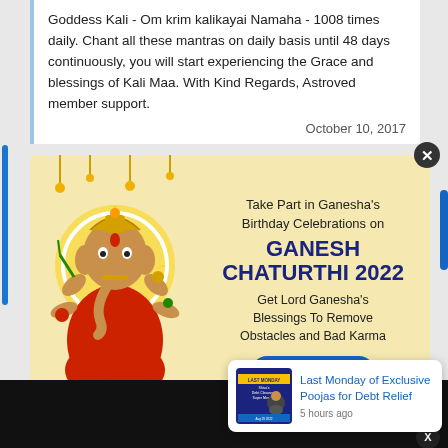Goddess Kali - Om krim kalikayai Namaha - 1008 times daily. Chant all these mantras on daily basis until 48 days continuously, you will start experiencing the Grace and blessings of Kali Maa. With Kind Regards, Astroved member support.
October 10, 2017
[Figure (illustration): Advertisement banner with yellow background featuring an illustration of Lord Ganesha on the left and promotional text on the right for Ganesh Chaturthi 2022.]
Take Part in Ganesha's Birthday Celebrations on GANESH CHATURTHI 2022 Get Lord Ganesha's Blessings To Remove Obstacles and Bad Karma JOIN NOW!
[Figure (illustration): Small notification popup with thumbnail image and text: Last Monday of Exclusive Poojas for Debt Relief, 5 hours ago]
Last Monday of Exclusive Poojas for Debt Relief
5 hours ago